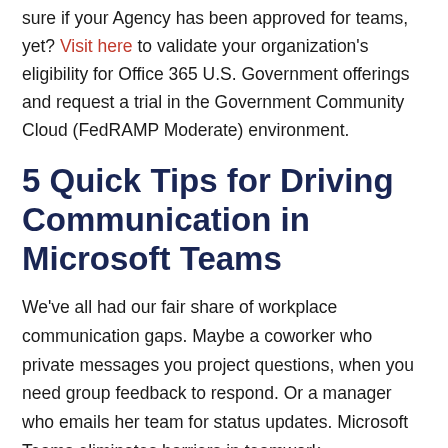sure if your Agency has been approved for teams, yet? Visit here to validate your organization's eligibility for Office 365 U.S. Government offerings and request a trial in the Government Community Cloud (FedRAMP Moderate) environment.
5 Quick Tips for Driving Communication in Microsoft Teams
We've all had our fair share of workplace communication gaps. Maybe a coworker who private messages you project questions, when you need group feedback to respond. Or a manager who emails her team for status updates. Microsoft Teams eliminates barriers in teamwork